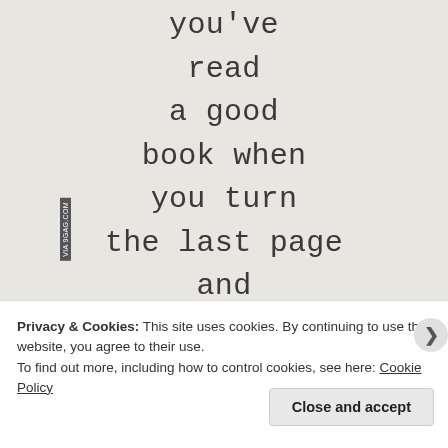[Figure (illustration): A light gray/beige textured background with centered typewriter-font text reading: 'you've read a good book when you turn the last page and feel'. A small vertical sidebar label reads 'VIA 9GAG.COM'.]
Privacy & Cookies: This site uses cookies. By continuing to use this website, you agree to their use.
To find out more, including how to control cookies, see here: Cookie Policy
Close and accept